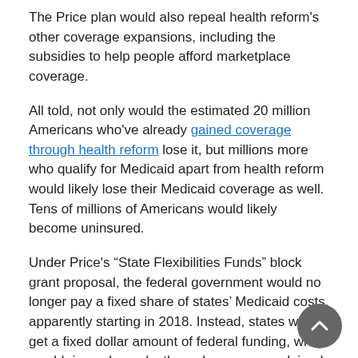The Price plan would also repeal health reform's other coverage expansions, including the subsidies to help people afford marketplace coverage.
All told, not only would the estimated 20 million Americans who've already gained coverage through health reform lose it, but millions more who qualify for Medicaid apart from health reform would likely lose their Medicaid coverage as well. Tens of millions of Americans would likely become uninsured.
Under Price's “State Flexibilities Funds” block grant proposal, the federal government would no longer pay a fixed share of states’ Medicaid costs, apparently starting in 2018. Instead, states would get a fixed dollar amount of federal funding, which would rise only modestly each year, as explained below.
Block-grant funding would fall further behind state needs each year. The annual increase in the block grant